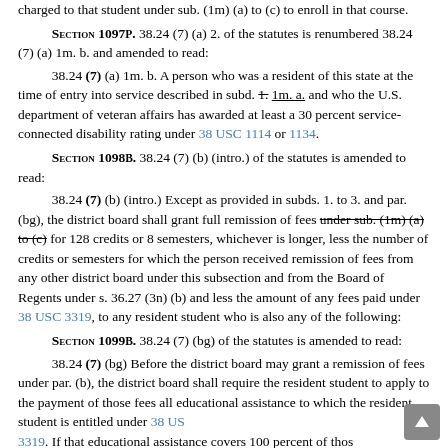charged to that student under sub. (1m) (a) to (c) to enroll in that course.
SECTION 1097P. 38.24 (7) (a) 2. of the statutes is renumbered 38.24 (7) (a) 1m. b. and amended to read:
38.24 (7) (a) 1m. b. A person who was a resident of this state at the time of entry into service described in subd. 1. 1m. a. and who the U.S. department of veteran affairs has awarded at least a 30 percent service-connected disability rating under 38 USC 1114 or 1134.
SECTION 1098B. 38.24 (7) (b) (intro.) of the statutes is amended to read:
38.24 (7) (b) (intro.) Except as provided in subds. 1. to 3. and par. (bg), the district board shall grant full remission of fees under sub. (1m) (a) to (c) for 128 credits or 8 semesters, whichever is longer, less the number of credits or semesters for which the person received remission of fees from any other district board under this subsection and from the Board of Regents under s. 36.27 (3n) (b) and less the amount of any fees paid under 38 USC 3319, to any resident student who is also any of the following:
SECTION 1099B. 38.24 (7) (bg) of the statutes is amended to read:
38.24 (7) (bg) Before the district board may grant a remission of fees under par. (b), the district board shall require the resident student to apply to the payment of those fees all educational assistance to which the resident student is entitled under 38 US 3319. If that educational assistance covers 100 percent of thos